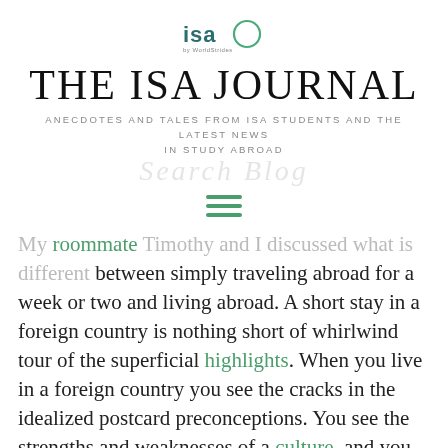[Figure (logo): ISA by WorldStrides logo — 'isa' text with a circle graphic and 'by WorldStrides' below]
THE ISA JOURNAL
ANECDOTES AND TALES FROM ISA STUDENTS AND THE LATEST NEWS IN STUDY ABROAD
[Figure (other): Hamburger menu icon — three green horizontal lines]
My roommate Timothy and I discussed what is different between simply traveling abroad for a week or two and living abroad. A short stay in a foreign country is nothing short of whirlwind tour of the superficial highlights. When you live in a foreign country you see the cracks in the idealized postcard preconceptions. You see the strengths and weaknesses of a culture, and you begin to empathize with its citizens. This empathy is a desire to integrate and become involved in the community. Initially, I feared I would never find a